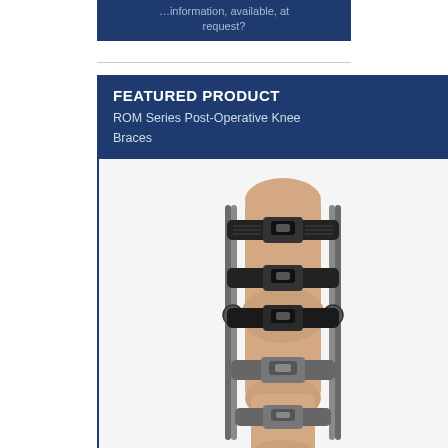…information, available, at request?
FEATURED PRODUCT
ROM Series Post-Operative Knee Braces
[Figure (photo): ROM Series Post-Operative Knee Brace shown fitted on a leg, featuring multiple black and grey buckle straps and metal side hinges extending from upper thigh to lower shin.]